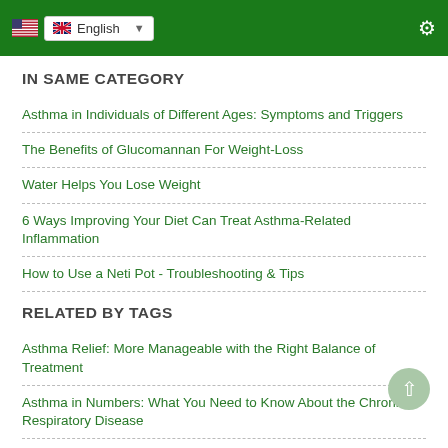English
IN SAME CATEGORY
Asthma in Individuals of Different Ages: Symptoms and Triggers
The Benefits of Glucomannan For Weight-Loss
Water Helps You Lose Weight
6 Ways Improving Your Diet Can Treat Asthma-Related Inflammation
How to Use a Neti Pot - Troubleshooting & Tips
RELATED BY TAGS
Asthma Relief: More Manageable with the Right Balance of Treatment
Asthma in Numbers: What You Need to Know About the Chronic Respiratory Disease
Two Major Handheld Nebulizers for Treating Asthma:
Types of Nebulizer for Treating Asthma